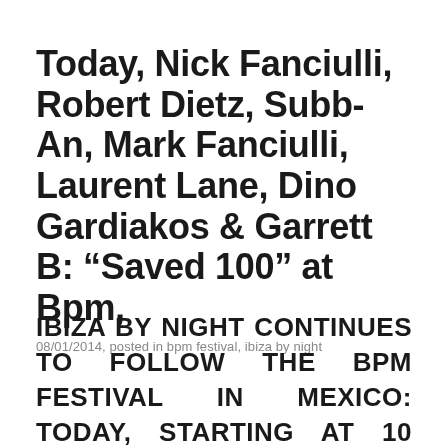Today, Nick Fanciulli, Robert Dietz, Subb-An, Mark Fanciulli, Laurent Lane, Dino Gardiakos & Garrett B: “Saved 100” at Bpm,
08/01/2014, posted in bpm festival, ibiza by night
IBIZA BY NIGHT CONTINUES TO FOLLOW THE BPM FESTIVAL IN MEXICO: TODAY, STARTING AT 10